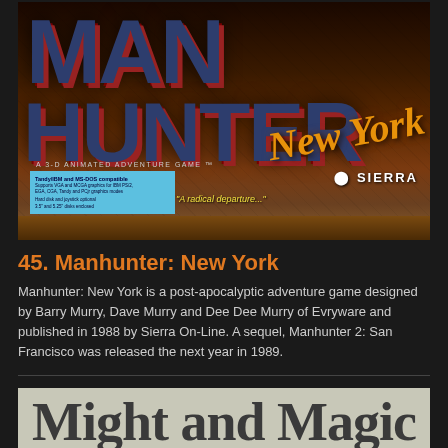[Figure (photo): Box art for Manhunter: New York video game by Sierra On-Line. Shows large stylized text MAN HUNTER in dark blue/grey with red shadows, New York in orange italic script, A 3-D ANIMATED ADVENTURE GAME subtitle, Sierra logo, blue info box with system requirements, and tagline 'A radical departure...']
45. Manhunter: New York
Manhunter: New York is a post-apocalyptic adventure game designed by Barry Murry, Dave Murry and Dee Dee Murry of Evryware and published in 1988 by Sierra On-Line. A sequel, Manhunter 2: San Francisco was released the next year in 1989.
[Figure (photo): Partial view of Might and Magic logo text in large dark serif font on light background]